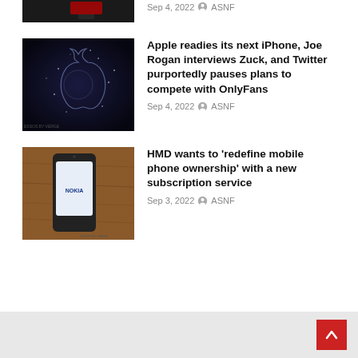[Figure (photo): Partial top thumbnail, dark background article image]
Sep 4, 2022  ASNF
[Figure (photo): Apple logo made of sparkling light particles on dark blue background]
Apple readies its next iPhone, Joe Rogan interviews Zuck, and Twitter purportedly pauses plans to compete with OnlyFans
Sep 4, 2022  ASNF
[Figure (photo): Nokia smartphone lying on a wooden surface displaying the Nokia logo on screen]
HMD wants to ‘redefine mobile phone ownership’ with a new subscription service
Sep 3, 2022  ASNF